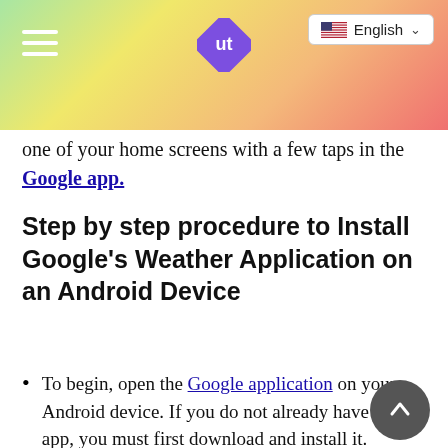English
one of your home screens with a few taps in the Google app.
Step by step procedure to Install Google's Weather Application on an Android Device
To begin, open the Google application on your Android device. If you do not already have this app, you must first download and install it.